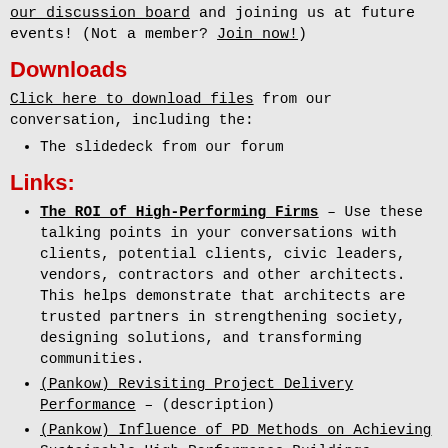our discussion board and joining us at future events! (Not a member? Join now!)
Downloads
Click here to download files from our conversation, including the:
The slidedeck from our forum
Links:
The ROI of High-Performing Firms – Use these talking points in your conversations with clients, potential clients, civic leaders, vendors, contractors and other architects. This helps demonstrate that architects are trusted partners in strengthening society, designing solutions, and transforming communities.
(Pankow) Revisiting Project Delivery Performance – (description)
(Pankow) Influence of PD Methods on Achieving Sustainable High Performance Buildings –